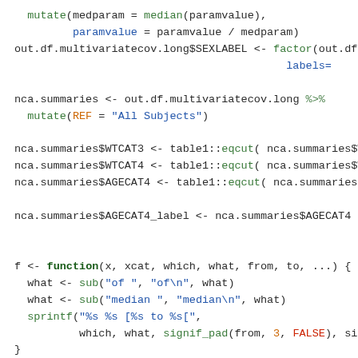R code snippet showing data manipulation and function definition including mutate, factor, nca.summaries, table1::eqcut, function definition with sub and sprintf calls, and ggplot